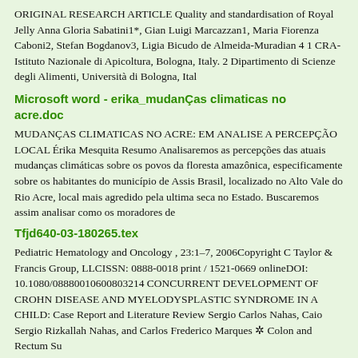ORIGINAL RESEARCH ARTICLE Quality and standardisation of Royal Jelly Anna Gloria Sabatini1*, Gian Luigi Marcazzan1, Maria Fiorenza Caboni2, Stefan Bogdanov3, Ligia Bicudo de Almeida-Muradian 4 1 CRA- Istituto Nazionale di Apicoltura, Bologna, Italy. 2 Dipartimento di Scienze degli Alimenti, Università di Bologna, Ital
Microsoft word - erika_mudanÇas climaticas no acre.doc
MUDANÇAS CLIMATICAS NO ACRE: EM ANALISE A PERCEPÇÃO LOCAL Érika Mesquita Resumo Analisaremos as percepções das atuais mudanças climáticas sobre os povos da floresta amazônica, especificamente sobre os habitantes do município de Assis Brasil, localizado no Alto Vale do Rio Acre, local mais agredido pela ultima seca no Estado. Buscaremos assim analisar como os moradores de
Tfjd640-03-180265.tex
Pediatric Hematology and Oncology , 23:1–7, 2006Copyright C Taylor & Francis Group, LLCISSN: 0888-0018 print / 1521-0669 onlineDOI: 10.1080/08880010600803214 CONCURRENT DEVELOPMENT OF CROHN DISEASE AND MYELODYSPLASTIC SYNDROME IN A CHILD: Case Report and Literature Review Sergio Carlos Nahas, Caio Sergio Rizkallah Nahas, and Carlos Frederico Marques ✲ Colon and Rectum Su
Untitled